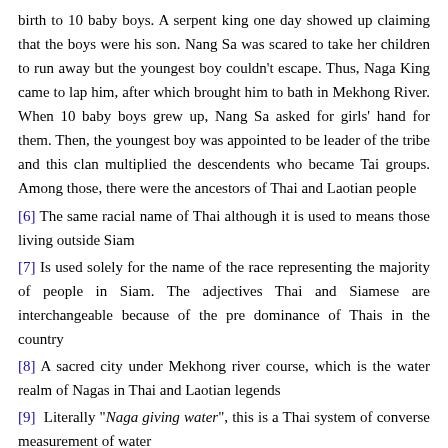birth to 10 baby boys. A serpent king one day showed up claiming that the boys were his son. Nang Sa was scared to take her children to run away but the youngest boy couldn't escape. Thus, Naga King came to lap him, after which brought him to bath in Mekhong River. When 10 baby boys grew up, Nang Sa asked for girls' hand for them. Then, the youngest boy was appointed to be leader of the tribe and this clan multiplied the descendents who became Tai groups. Among those, there were the ancestors of Thai and Laotian people
[6] The same racial name of Thai although it is used to means those living outside Siam
[7] Is used solely for the name of the race representing the majority of people in Siam. The adjectives Thai and Siamese are interchangeable because of the pre dominance of Thais in the country
[8] A sacred city under Mekhong river course, which is the water realm of Nagas in Thai and Laotian legends
[9] Literally "Naga giving water", this is a Thai system of converse measurement of water
[10] Bamboo rockets used in rain propitiation
[11] Literally "Naga drinking water", it is a Thai term to show a rainbow